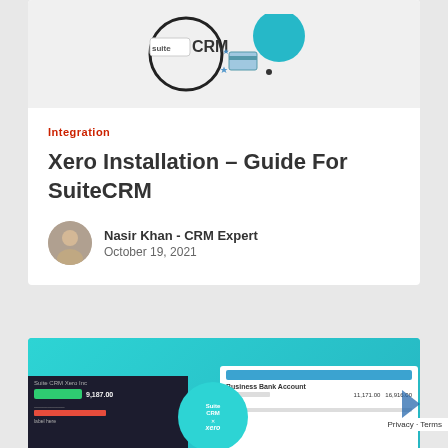[Figure (illustration): SuiteCRM logo illustration with hand holding credit card and decorative shapes]
Integration
Xero Installation – Guide For SuiteCRM
Nasir Khan - CRM Expert
October 19, 2021
[Figure (screenshot): Screenshot showing SuiteCRM and Xero integration interface with dashboard panels and SuiteCRM/Xero logos]